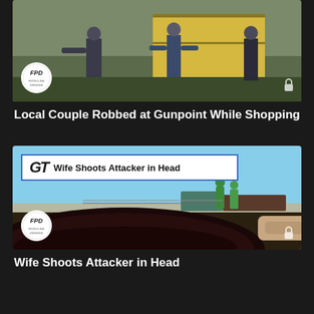[Figure (screenshot): Video thumbnail showing people in a training scenario outside yellow shipping containers, with FPD logo badge and lock icon overlay]
Local Couple Robbed at Gunpoint While Shopping
[Figure (screenshot): Video thumbnail showing a GT news overlay headline 'Wife Shoots Attacker in Head' over a scene with a dark car roof and people in a parking lot, FPD logo badge]
Wife Shoots Attacker in Head